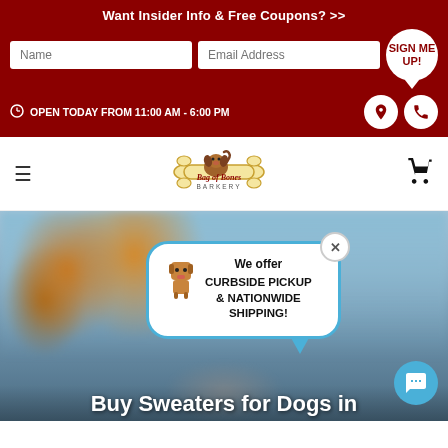Want Insider Info & Free Coupons? >>
Name
Email Address
SIGN ME UP!
OPEN TODAY FROM 11:00 AM - 6:00 PM
[Figure (logo): Bag of Bones Barkery logo with cartoon dog on bone]
[Figure (photo): Blurred outdoor background photo with dog and autumn trees. Popup chat bubble with dog icon reading: We offer CURBSIDE PICKUP & NATIONWIDE SHIPPING!]
Buy Sweaters for Dogs in